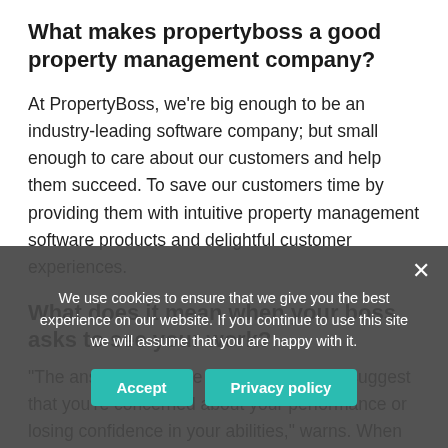What makes propertyboss a good property management company?
At PropertyBoss, we're big enough to be an industry-leading software company; but small enough to care about our customers and help them succeed. To save our customers time by providing them with intuitive property management software products and delightful customer experiences.
What does it mean when your boss asks to see your work?
"The answer of course varies, but it does suggest that you're concerned about your performance or losing confidence in your abilities," warns. When you're a new employee, your boss might ask to see
We use cookies to ensure that we give you the best experience on our website. If you continue to use this site we will assume that you are happy with it.